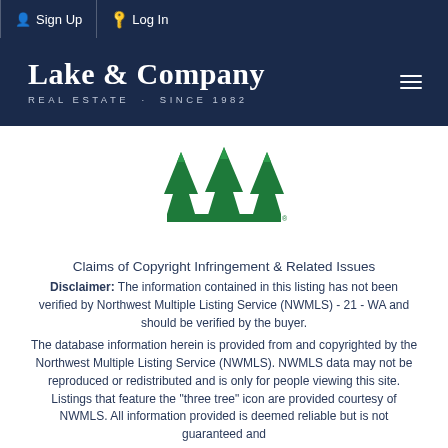Sign Up  Log In
[Figure (logo): Lake & Company Real Estate Since 1982 logo on dark navy background with hamburger menu icon]
[Figure (logo): NWMLS three pine trees logo in green]
Claims of Copyright Infringement & Related Issues
Disclaimer: The information contained in this listing has not been verified by Northwest Multiple Listing Service (NWMLS) - 21 - WA and should be verified by the buyer.
The database information herein is provided from and copyrighted by the Northwest Multiple Listing Service (NWMLS). NWMLS data may not be reproduced or redistributed and is only for people viewing this site. Listings that feature the "three tree" icon are provided courtesy of NWMLS. All information provided is deemed reliable but is not guaranteed and should be independently verified.